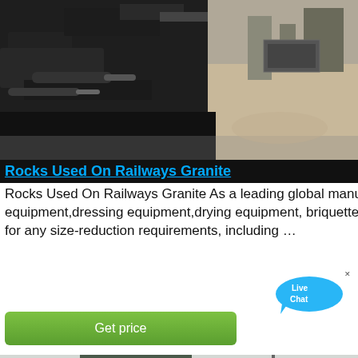[Figure (photo): Industrial crushing/mining machinery, dark metal equipment on sandy ground, outdoor setting]
Rocks Used On Railways Granite
Rocks Used On Railways Granite As a leading global manufacturer of crushing equipment, milling equipment,dressing equipment,drying equipment, briquette equipment etc. we offer advanced, rational solutions for any size-reduction requirements, including …
[Figure (other): Live Chat speech bubble widget with text 'Live Chat']
[Figure (photo): Large green industrial mining/crushing plant structure with conveyor belts and metal framework, outdoor setting]
Get price